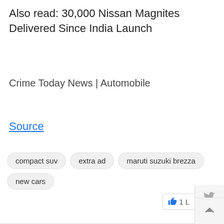Also read: 30,000 Nissan Magnites Delivered Since India Launch
Crime Today News | Automobile
Source
compact suv
extra ad
maruti suzuki brezza
new cars